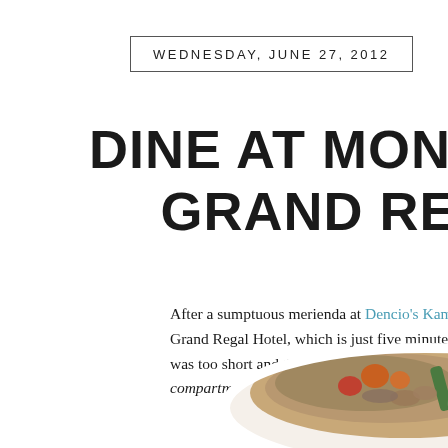WEDNESDAY, JUNE 27, 2012
DINE AT MONTMAR GRAND REGA
After a sumptuous merienda at Dencio's Kamayan, we hopped in Grand Regal Hotel, which is just five minutes away. My compan was too short and they were expecting a 30-40 minute ride from compartments ng tiyan namin!
[Figure (photo): A plate of Filipino food with mixed meat, vegetables including green beans and orange/red peppers, served on a white plate. Another dish with red sauce visible on the right side.]